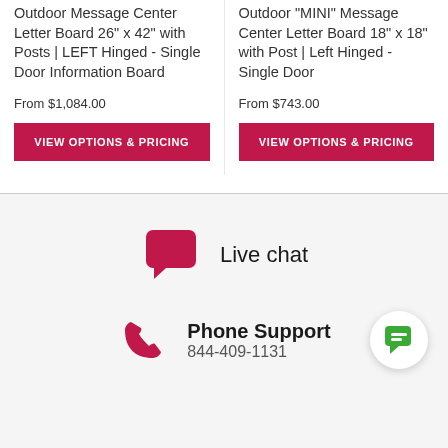Outdoor Message Center Letter Board 26" x 42" with Posts | LEFT Hinged - Single Door Information Board
From $1,084.00
VIEW OPTIONS & PRICING
Outdoor "MINI" Message Center Letter Board 18" x 18" with Post | Left Hinged - Single Door
From $743.00
VIEW OPTIONS & PRICING
[Figure (illustration): Pink/red speech bubble icon for Live chat]
Live chat
[Figure (illustration): Pink/red phone handset icon for Phone Support]
Phone Support
844-409-1131
[Figure (illustration): Green chat widget button circle in bottom right corner]